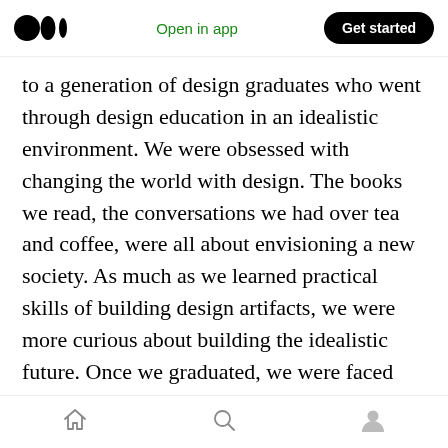Medium logo | Open in app | Get started
to a generation of design graduates who went through design education in an idealistic environment. We were obsessed with changing the world with design. The books we read, the conversations we had over tea and coffee, were all about envisioning a new society. As much as we learned practical skills of building design artifacts, we were more curious about building the idealistic future. Once we graduated, we were faced with the realities of earning our living. That is where the gap between our ideology and our practice became a struggle. Over the past five
Home | Search | Profile